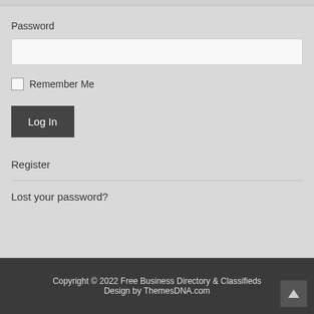Password
Remember Me
Log In
Register
Lost your password?
Copyright © 2022 Free Business Directory & Classifieds
Design by ThemesDNA.com